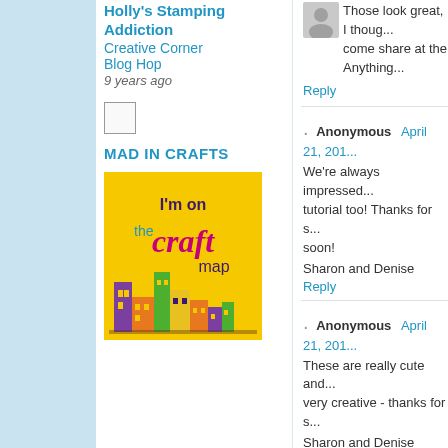Holly's Stamping Addiction
Creative Corner Blog Hop
9 years ago
MAD IN CRAFTS
[Figure (illustration): I'm on the Craft map badge with colorful illustrated buildings on yellow background]
Those look great, I thoug... come share at the Anything...
Reply
Anonymous  April 21, 201...
We're always impressed... tutorial too! Thanks for s... soon!
Sharon and Denise
Reply
Anonymous  April 21, 201...
These are really cute and... very creative - thanks for s...
Sharon and Denise
Reply
avisiontoremember  April...